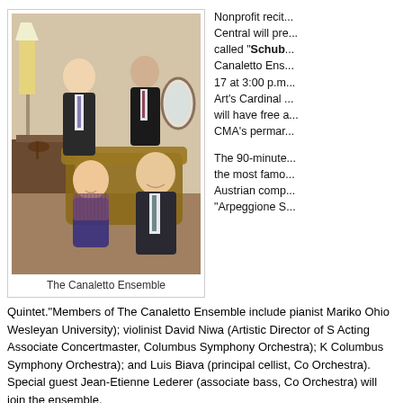[Figure (photo): Group photo of The Canaletto Ensemble — four musicians (three men and one woman) posed in a warmly lit room with a lamp, sofa, and mirror in the background.]
The Canaletto Ensemble
Nonprofit recital series Chamber Music Central will present a special concert called "Schubert by the Canaletto Ensemble" on March 17 at 3:00 p.m. at the Columbus Museum of Art's Cardinal Health Theater. Attendees will have free access to all three floors of CMA's permanent collection.
The 90-minute program will include some of the most famous chamber works by the Austrian composer, including his "Arpeggione Sonata" and "Trout Quintet."Members of The Canaletto Ensemble include pianist Mariko Ohio Wesleyan University); violinist David Niwa (Artistic Director of S Acting Associate Concertmaster, Columbus Symphony Orchestra); K Columbus Symphony Orchestra); and Luis Biava (principal cellist, Co Orchestra). Special guest Jean-Etienne Lederer (associate bass, Co Orchestra) will join the ensemble.
“These are two of our favorite pieces to perform,” said Niwa. “W Patrick’s Day with Schubert’s luscious colors, energetic melodie